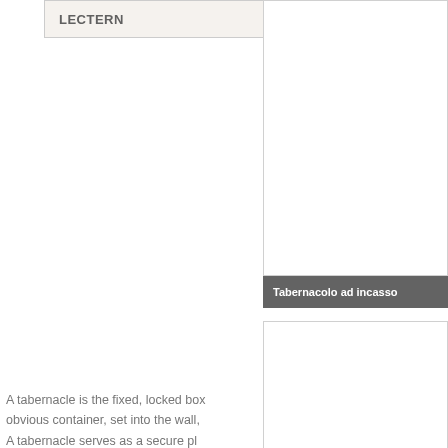LECTERN
[Figure (photo): Photo of a tabernacle ad incasso (recessed tabernacle), first image]
Tabernacolo ad incasso
[Figure (photo): Photo of a tabernacle ad incasso (recessed tabernacle), second image]
Tabernacolo ad incasso
A tabernacle is the fixed, locked box obvious container, set into the wall, A tabernacle serves as a secure pl